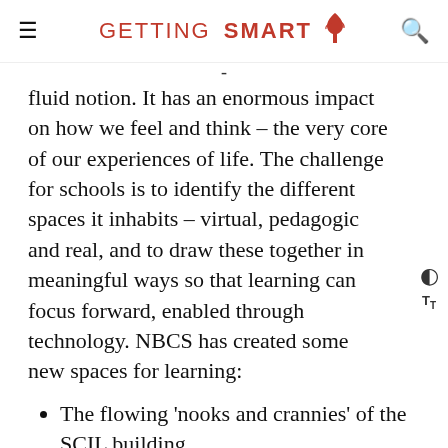GETTING SMART
fluid notion. It has an enormous impact on how we feel and think – the very core of our experiences of life. The challenge for schools is to identify the different spaces it inhabits – virtual, pedagogic and real, and to draw these together in meaningful ways so that learning can focus forward, enabled through technology. NBCS has created some new spaces for learning:
The flowing 'nooks and crannies' of the SCIL building
Design and Production suites of the Undercroft
Multimodal agile spaces of the Marina Prior Centre for the Performing Arts